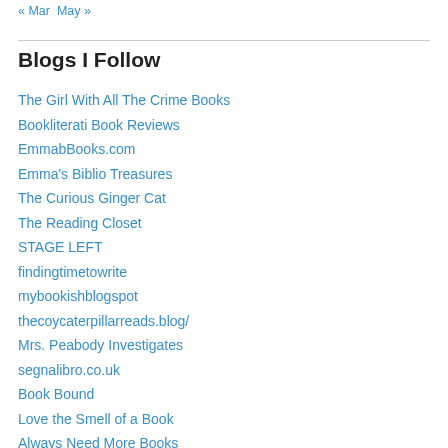« Mar   May »
Blogs I Follow
The Girl With All The Crime Books
Bookliterati Book Reviews
EmmabBooks.com
Emma's Biblio Treasures
The Curious Ginger Cat
The Reading Closet
STAGE LEFT
findingtimetowrite
mybookishblogspot
thecoycaterpillarreads.blog/
Mrs. Peabody Investigates
segnalibro.co.uk
Book Bound
Love the Smell of a Book
Always Need More Books
raoroadsbookblog.wordpress.com/